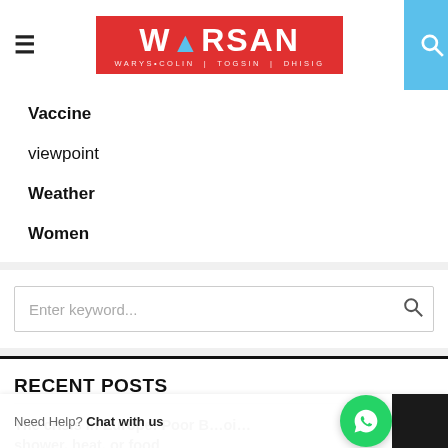WARSAN — website header with logo, hamburger menu, and search icon
Vaccine
viewpoint
Weather
Women
Enter keyword...
RECENT POSTS
The crisis in Europe: Poor British families can't afford to shower, heat, or food
Africa is Not For Sale: SABC countering Russian activities in...
Need Help? Chat with us